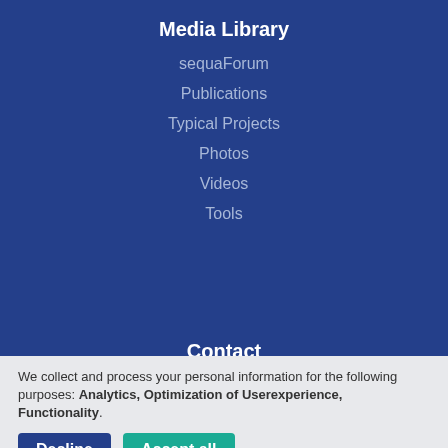Media Library
sequaForum
Publications
Typical Projects
Photos
Videos
Tools
Contact
Contact
How to get here
We collect and process your personal information for the following purposes: Analytics, Optimization of Userexperience, Functionality.
Decline
Accept all
Customize...